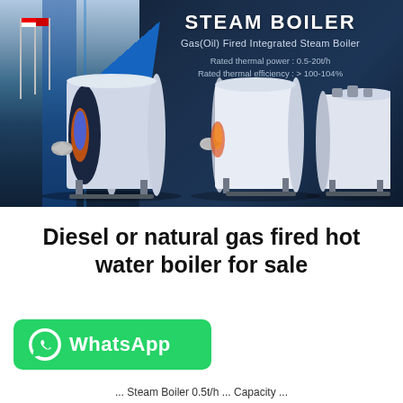[Figure (photo): Steam boiler product banner with dark navy background showing multiple industrial gas/oil fired integrated steam boilers and a factory building on the left with flagpoles. Title 'STEAM BOILER' and specs listed.]
Diesel or natural gas fired hot water boiler for sale
[Figure (logo): WhatsApp button — green rounded rectangle with WhatsApp phone icon and 'WhatsApp' text in white]
... Steam Boiler 0.5t/h ... Capacity ...